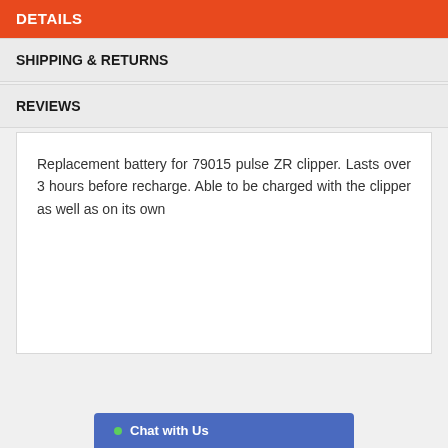DETAILS
SHIPPING & RETURNS
REVIEWS
Replacement battery for 79015 pulse ZR clipper. Lasts over 3 hours before recharge. Able to be charged with the clipper as well as on its own
Chat with Us